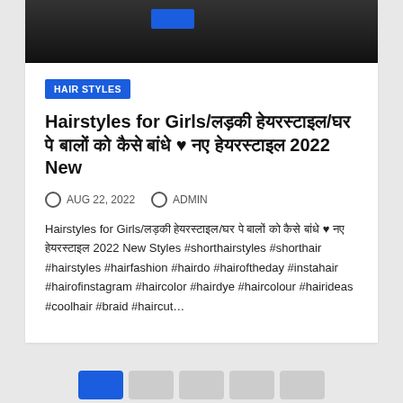[Figure (photo): Dark/black background photo cropped at top, showing partial figures]
HAIR STYLES
Hairstyles for Girls/लड़की हेयरस्टाइल/घर पे बालों को कैसे बांधे ♥ नए हेयरस्टाइल 2022 New
AUG 22, 2022   ADMIN
Hairstyles for Girls/लड़की हेयरस्टाइल/घर पे बालों को कैसे बांधे ♥ नए हेयरस्टाइल 2022 New Styles #shorthairstyles #shorthair #hairstyles #hairfashion #hairdo #hairoftheday #instahair #hairofinstagram #haircolor #hairdye #haircolour #hairideas #coolhair #braid #haircut…